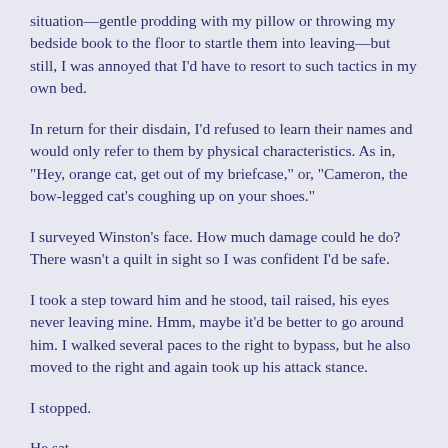situation—gentle prodding with my pillow or throwing my bedside book to the floor to startle them into leaving—but still, I was annoyed that I'd have to resort to such tactics in my own bed.
In return for their disdain, I'd refused to learn their names and would only refer to them by physical characteristics. As in, "Hey, orange cat, get out of my briefcase," or, "Cameron, the bow-legged cat's coughing up on your shoes."
I surveyed Winston's face. How much damage could he do? There wasn't a quilt in sight so I was confident I'd be safe.
I took a step toward him and he stood, tail raised, his eyes never leaving mine. Hmm, maybe it'd be better to go around him. I walked several paces to the right to bypass, but he also moved to the right and again took up his attack stance.
I stopped.
He sat.
I moved a leg forward, cleverly feigning a step.